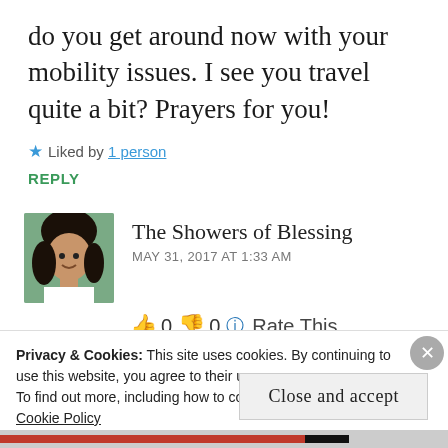do you get around now with your mobility issues. I see you travel quite a bit? Prayers for you!
★ Liked by 1 person
REPLY
[Figure (photo): Avatar photo of The Showers of Blessing commenter, showing a woman with dark hair, smiling, outdoors with greenery background.]
The Showers of Blessing
MAY 31, 2017 AT 1:33 AM
👍 0 👎 0 ℹ Rate This
Privacy & Cookies: This site uses cookies. By continuing to use this website, you agree to their use.
To find out more, including how to control cookies, see here:
Cookie Policy
Close and accept